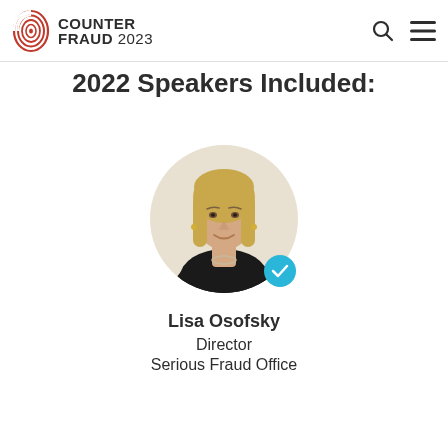Counter Fraud 2023
2022 Speakers Included:
[Figure (photo): Circular portrait photo of Lisa Osofsky, a woman with blonde hair wearing a black top, with a blue checkmark badge overlay]
Lisa Osofsky
Director
Serious Fraud Office